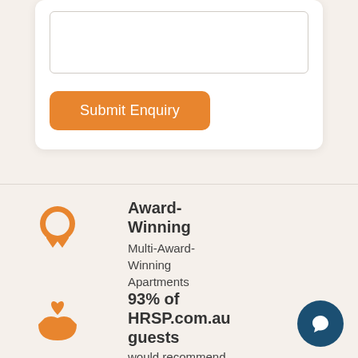[Figure (screenshot): A white card panel with a textarea input field (empty, with resize handle) and an orange Submit Enquiry button below it]
Submit Enquiry
[Figure (illustration): Orange award ribbon/medal icon]
Award-Winning
Multi-Award-Winning Apartments
[Figure (illustration): Orange hand holding a heart icon]
93% of HRSP.com.au guests
would recommend
[Figure (illustration): Dark blue circular chat/message bubble button in bottom right corner]